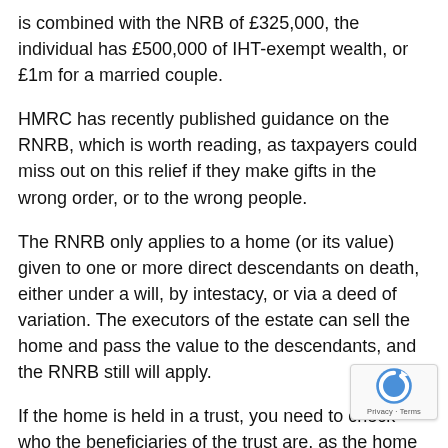is combined with the NRB of £325,000, the individual has £500,000 of IHT-exempt wealth, or £1m for a married couple.
HMRC has recently published guidance on the RNRB, which is worth reading, as taxpayers could miss out on this relief if they make gifts in the wrong order, or to the wrong people.
The RNRB only applies to a home (or its value) given to one or more direct descendants on death, either under a will, by intestacy, or via a deed of variation. The executors of the estate can sell the home and pass the value to the descendants, and the RNRB still will apply.
If the home is held in a trust, you need to check who the beneficiaries of the trust are, as the home must be treated as part of the deceased's estate on death to qualify for RNRB. A home caught by the 'gift with reservation of benefit' rules (ie the donor lives there after giving it away) will qualify for RNRB, as the home is treated as part of the